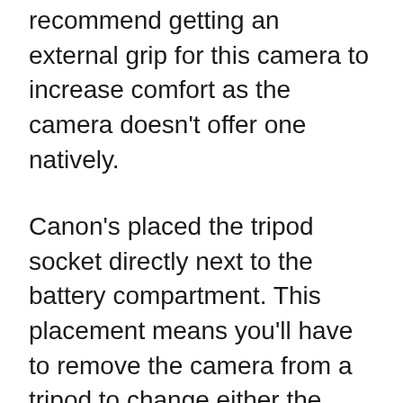recommend getting an external grip for this camera to increase comfort as the camera doesn't offer one natively.
Canon's placed the tripod socket directly next to the battery compartment. This placement means you'll have to remove the camera from a tripod to change either the battery or the SD card. Always tedious.
Both the camera's exposure compensation and control dials are stiff